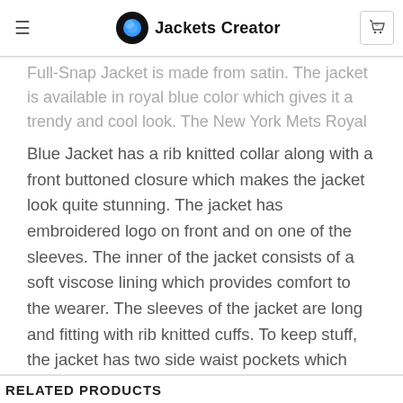Jackets Creator
Full-Snap Jacket is made from satin. The jacket is available in royal blue color which gives it a trendy and cool look. The New York Mets Royal Blue Jacket has a rib knitted collar along with a front buttoned closure which makes the jacket look quite stunning. The jacket has embroidered logo on front and on one of the sleeves. The inner of the jacket consists of a soft viscose lining which provides comfort to the wearer. The sleeves of the jacket are long and fitting with rib knitted cuffs. To keep stuff, the jacket has two side waist pockets which makes the jacket even more appealing. The fine quality stitching increases the durability of this classy jacket. The New York Mets Wordmark Royal Blue Satin Full-Snap Jacket is the choice of stylish men and women.
RELATED PRODUCTS